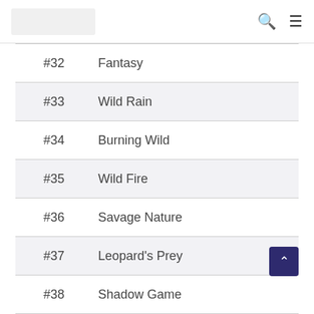[logo] [search icon] [menu icon]
| # | Title |
| --- | --- |
| #32 | Fantasy |
| #33 | Wild Rain |
| #34 | Burning Wild |
| #35 | Wild Fire |
| #36 | Savage Nature |
| #37 | Leopard's Prey |
| #38 | Shadow Game |
| #39 | Mind Game |